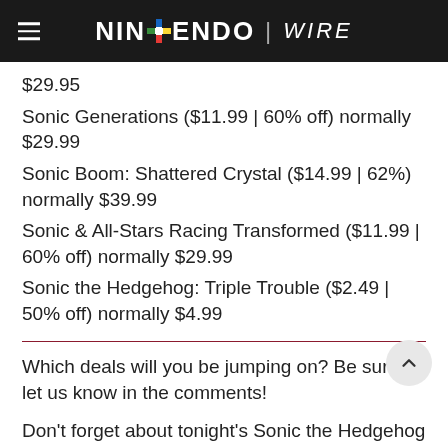NINTENDO WIRE
$29.95
Sonic Generations ($11.99 | 60% off) normally $29.99
Sonic Boom: Shattered Crystal ($14.99 | 62%) normally $39.99
Sonic & All-Stars Racing Transformed ($11.99 | 60% off) normally $29.99
Sonic the Hedgehog: Triple Trouble ($2.49 | 50% off) normally $4.99
Which deals will you be jumping on? Be sure to let us know in the comments!
Don't forget about tonight's Sonic the Hedgehog